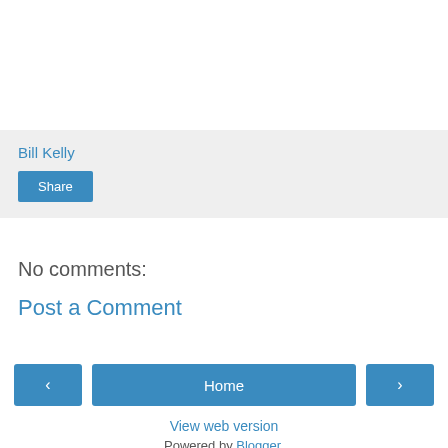Bill Kelly
Share
No comments:
Post a Comment
‹
Home
›
View web version
Powered by Blogger.